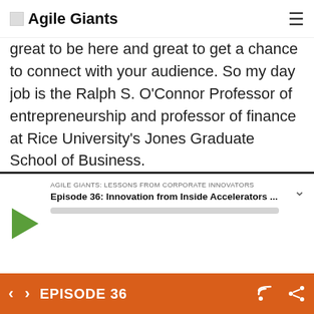Agile Giants
great to be here and great to get a chance to connect with your audience. So my day job is the Ralph S. O'Connor Professor of entrepreneurship and professor of finance at Rice University's Jones Graduate School of Business.
Yael Hochberg (03:39):
At Rice, I am the head of the Rice Entrepreneurship Initiative. The Rice
[Figure (screenshot): Podcast player widget showing AGILE GIANTS: LESSONS FROM CORPORATE INNOVATORS, Episode 36: Innovation from Inside Accelerators ...]
EPISODE 36